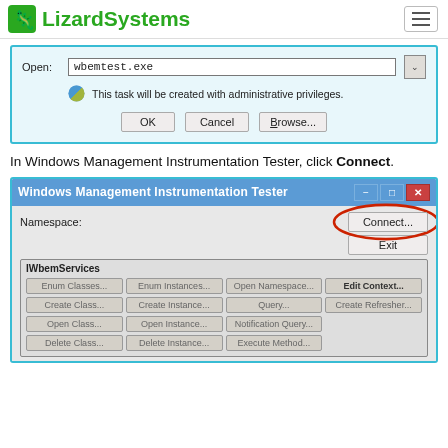LizardSystems
[Figure (screenshot): Windows Run dialog showing wbemtest.exe in the Open field with a dropdown arrow, an admin shield icon with text 'This task will be created with administrative privileges.', and OK, Cancel, Browse... buttons]
In Windows Management Instrumentation Tester, click Connect.
[Figure (screenshot): Windows Management Instrumentation Tester window with title bar showing minimize, maximize, and close buttons. Body shows Namespace label, Connect... button circled in red, Exit button, IWbemServices section with grid of buttons: Enum Classes..., Enum Instances..., Open Namespace..., Edit Context..., Create Class..., Create Instance..., Query..., Create Refresher..., Open Class..., Open Instance..., Notification Query..., Delete Class..., Delete Instance..., Execute Method...]